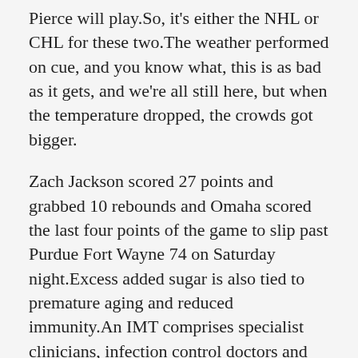Pierce will play.So, it's either the NHL or CHL for these two.The weather performed on cue, and you know what, this is as bad as it gets, and we're all still here, but when the temperature dropped, the crowds got bigger.
Zach Jackson scored 27 points and grabbed 10 rebounds and Omaha scored the last four points of the game to slip past Purdue Fort Wayne 74 on Saturday night.Excess added sugar is also tied to premature aging and reduced immunity.An IMT comprises specialist clinicians, infection control doctors and nurses, occupational health clinicians and colleagues from estates and facilities.
It was the most surreal experience ..Last Sunday was �?you looked at those guys at the end of the game, I mean, everybody was exhausted.If not, your